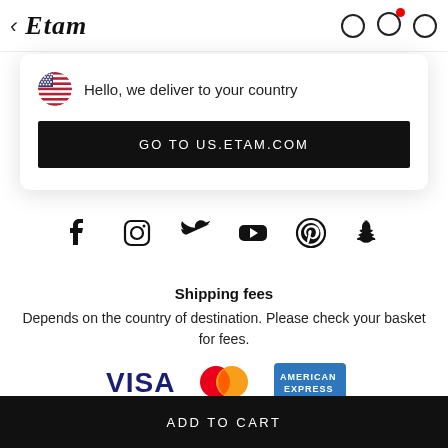← Etam
[Figure (screenshot): Dialog box with US flag icon, text 'Hello, we deliver to your country', and a black button 'GO TO US.ETAM.COM']
[Figure (infographic): Social media icons: Facebook, Instagram, Twitter, YouTube, Pinterest, Snapchat]
Shipping fees
Depends on the country of destination. Please check your basket for fees.
[Figure (infographic): Payment method logos: VISA, Mastercard, American Express]
ADD TO CART